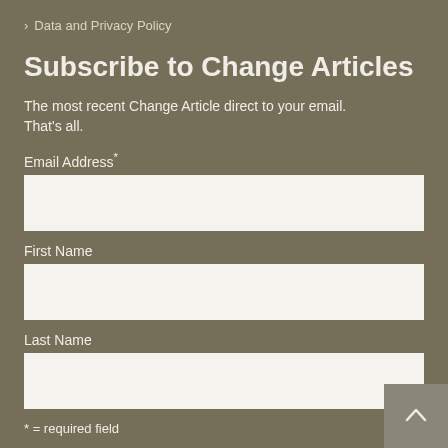> Data and Privacy Policy
Subscribe to Change Articles
The most recent Change Article direct to your email. That's all.
Email Address*
First Name
Last Name
* = required field